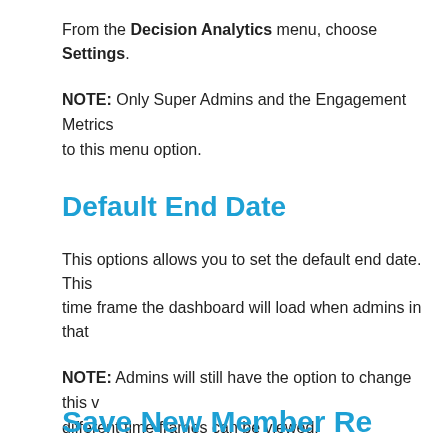From the Decision Analytics menu, choose Settings.
NOTE: Only Super Admins and the Engagement Metrics to this menu option.
Default End Date
This options allows you to set the default end date. This time frame the dashboard will load when admins in that
NOTE: Admins will still have the option to change this value so different time frames can be viewed.
Define default End Date for the dashboard:   End Date
Save New Member Re...